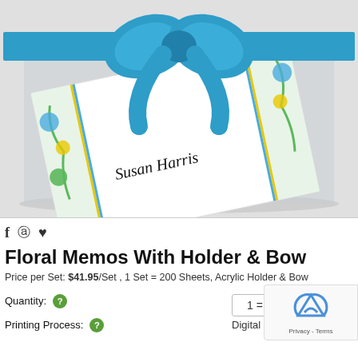[Figure (photo): Product photo of Floral Memos With Holder and Bow — a notepad with blue, green and yellow floral border design, white center, personalized with 'Susan Harris' in script, held in an acrylic holder with a blue grosgrain ribbon bow on top.]
f  ♡
Floral Memos With Holder & Bow
Price per Set: $41.95/Set , 1 Set = 200 Sheets, Acrylic Holder & Bow
Quantity:  ?     1 = $41.95
Printing Process:  ?     Digital - 2 Color